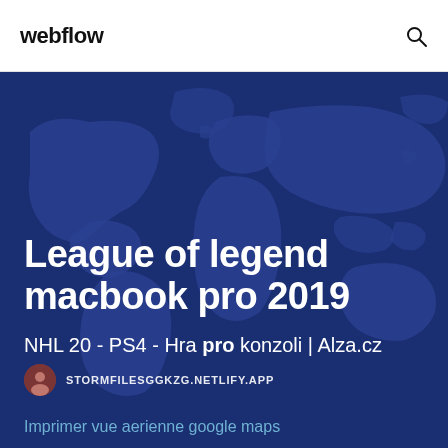webflow
[Figure (illustration): Dark blue world map background illustration covering the hero section]
League of legend macbook pro 2019
NHL 20 - PS4 - Hra pro konzoli | Alza.cz
STORMFILESGGKZG.NETLIFY.APP
Imprimer vue aerienne google maps